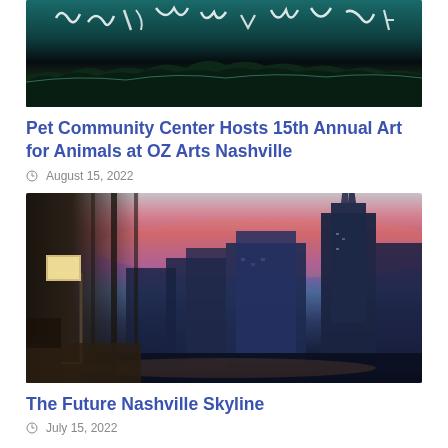[Figure (photo): Abstract dark teal/black image with white script-like text at the top, resembling a concert or art event visual]
Pet Community Center Hosts 15th Annual Art for Animals at OZ Arts Nashville
August 15, 2022
[Figure (photo): Nashville cityscape at dusk/sunset viewed from a high-rise window interior, showing skyscrapers including the AT&T Building against a pink and purple sky]
The Future Nashville Skyline
July 15, 2022